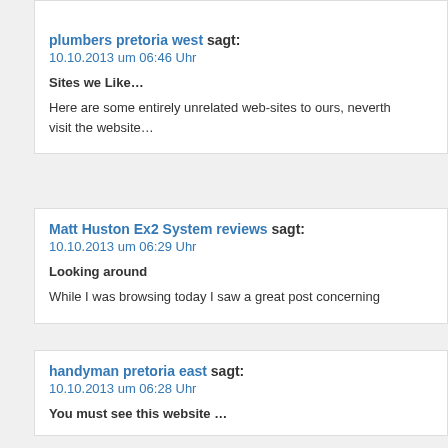plumbers pretoria west sagt: 10.10.2013 um 06:46 Uhr
Sites we Like…
Here are some entirely unrelated web-sites to ours, nevertheless visit the website…
Matt Huston Ex2 System reviews sagt: 10.10.2013 um 06:29 Uhr
Looking around
While I was browsing today I saw a great post concerning
handyman pretoria east sagt: 10.10.2013 um 06:28 Uhr
You must see this website …
We came across a cool website that you may well enjoy visi
CONVERSE Heels sagt: 10.10.2013 um 06:00 Uhr